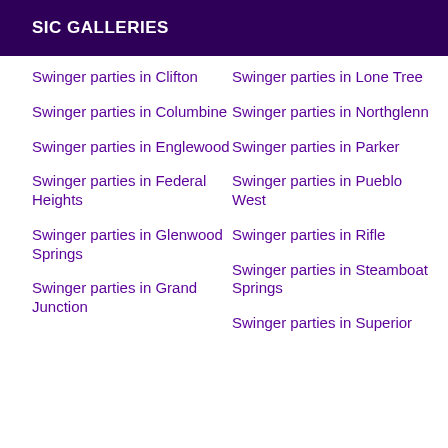SIC GALLERIES
Swinger parties in Clifton
Swinger parties in Columbine
Swinger parties in Englewood
Swinger parties in Federal Heights
Swinger parties in Glenwood Springs
Swinger parties in Grand Junction
Swinger parties in Lone Tree
Swinger parties in Northglenn
Swinger parties in Parker
Swinger parties in Pueblo West
Swinger parties in Rifle
Swinger parties in Steamboat Springs
Swinger parties in Superior